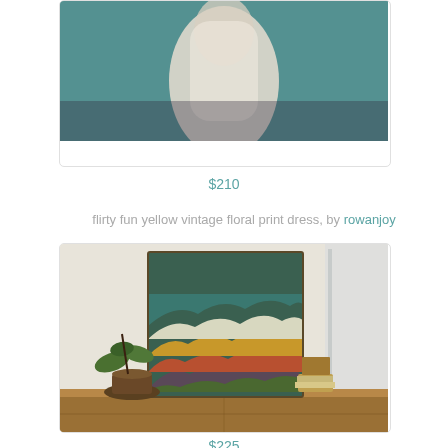[Figure (photo): Partially cropped product photo of a woman in a white/cream lace dress against a teal background, showing the lower portion of the dress]
$210
flirty fun yellow vintage floral print dress, by rowanjoy
[Figure (photo): Mountain landscape painting leaning against a wall on a wooden dresser, with layered colored mountain ranges in teal, white, yellow/gold, orange, and dark purple/gray tones. A potted plant is beside it.]
$225